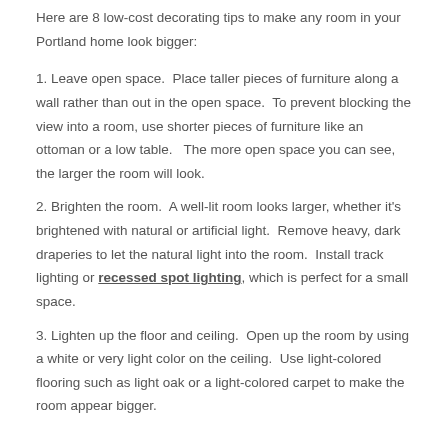Here are 8 low-cost decorating tips to make any room in your Portland home look bigger:
1. Leave open space.  Place taller pieces of furniture along a wall rather than out in the open space.  To prevent blocking the view into a room, use shorter pieces of furniture like an ottoman or a low table.   The more open space you can see, the larger the room will look.
2. Brighten the room.  A well-lit room looks larger, whether it's brightened with natural or artificial light.  Remove heavy, dark draperies to let the natural light into the room.  Install track lighting or recessed spot lighting, which is perfect for a small space.
3. Lighten up the floor and ceiling.  Open up the room by using a white or very light color on the ceiling.  Use light-colored flooring such as light oak or a light-colored carpet to make the room appear bigger.